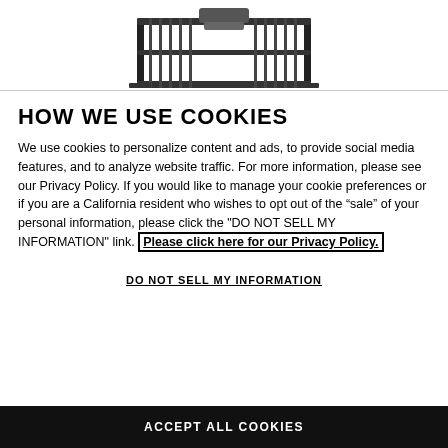[Figure (photo): Truck bed rack / cargo rack product image shown from above against white background]
HOW WE USE COOKIES
We use cookies to personalize content and ads, to provide social media features, and to analyze website traffic. For more information, please see our Privacy Policy. If you would like to manage your cookie preferences or if you are a California resident who wishes to opt out of the "sale" of your personal information, please click the "DO NOT SELL MY INFORMATION" link. Please click here for our Privacy Policy.
DO NOT SELL MY INFORMATION
ACCEPT ALL COOKIES